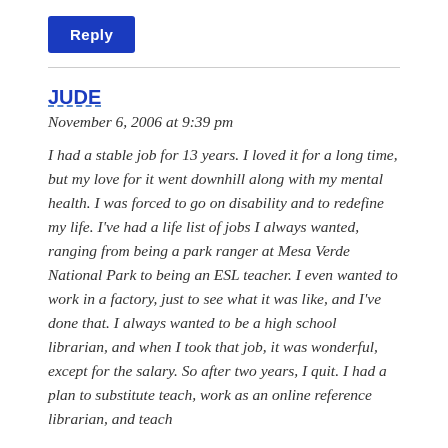Reply
JUDE
November 6, 2006 at 9:39 pm
I had a stable job for 13 years. I loved it for a long time, but my love for it went downhill along with my mental health. I was forced to go on disability and to redefine my life. I’ve had a life list of jobs I always wanted, ranging from being a park ranger at Mesa Verde National Park to being an ESL teacher. I even wanted to work in a factory, just to see what it was like, and I’ve done that. I always wanted to be a high school librarian, and when I took that job, it was wonderful, except for the salary. So after two years, I quit. I had a plan to substitute teach, work as an online reference librarian, and teach